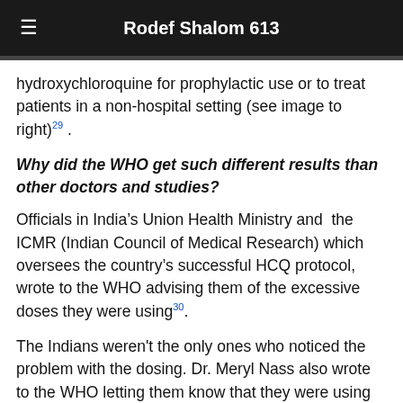Rodef Shalom 613
hydroxychloroquine for prophylactic use or to treat patients in a non-hospital setting (see image to right)29 .
Why did the WHO get such different results than other doctors and studies?
Officials in India’s Union Health Ministry and the ICMR (Indian Council of Medical Research) which oversees the country’s successful HCQ protocol, wrote to the WHO advising them of the excessive doses they were using30.
The Indians weren't the only ones who noticed the problem with the dosing. Dr. Meryl Nass also wrote to the WHO letting them know that they were using lethal doses of hydroxychloroquine.
Why would the WHO authorize trials using doses known to be dangerously excessive?